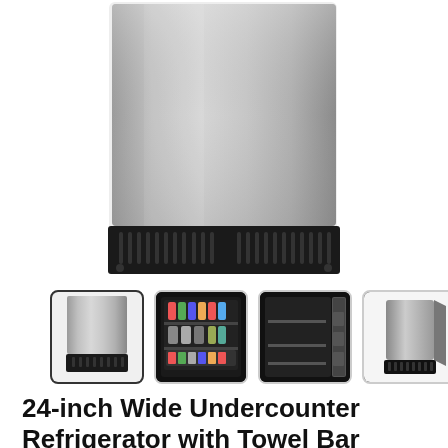[Figure (photo): Main product photo of a stainless steel undercounter refrigerator front view, showing metallic door and black ventilation grille at the bottom]
[Figure (photo): Row of four thumbnail images of the refrigerator: front closed view (selected), open interior with beverages, open empty interior, and side/angle view]
24-inch Wide Undercounter Refrigerator with Towel Bar